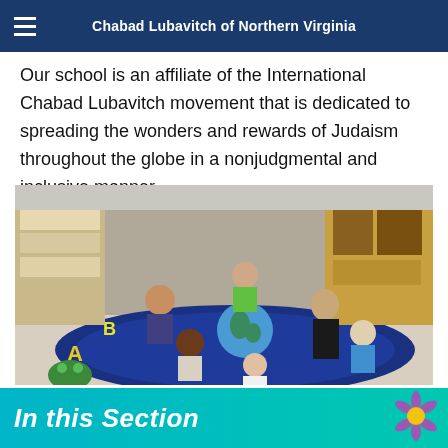Chabad Lubavitch of Northern Virginia
Our school is an affiliate of the International Chabad Lubavitch movement that is dedicated to spreading the wonders and rewards of Judaism throughout the globe in a nonjudgmental and inclusive manner.
[Figure (photo): Children and a teacher sitting on a blue alphabet rug in a classroom, looking at a globe together.]
In this Section